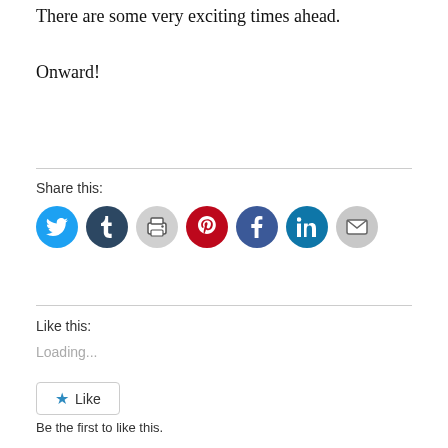There are some very exciting times ahead.
Onward!
[Figure (infographic): Social sharing icons row: Twitter (blue), Tumblr (dark blue), Print (gray), Pinterest (red), Facebook (dark blue), LinkedIn (blue), Email (gray)]
Share this:
Like this:
Loading...
Like
Be the first to like this.